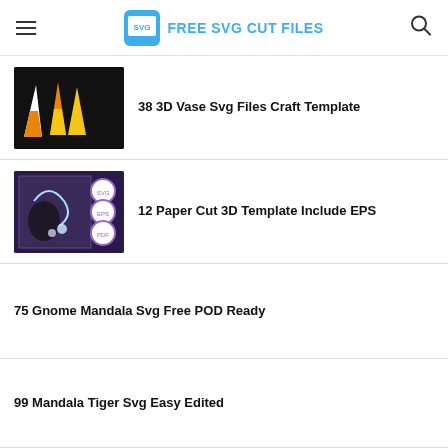FREE SVG CUT FILES
38 3D Vase Svg Files Craft Template
12 Paper Cut 3D Template Include EPS
75 Gnome Mandala Svg Free POD Ready
99 Mandala Tiger Svg Easy Edited